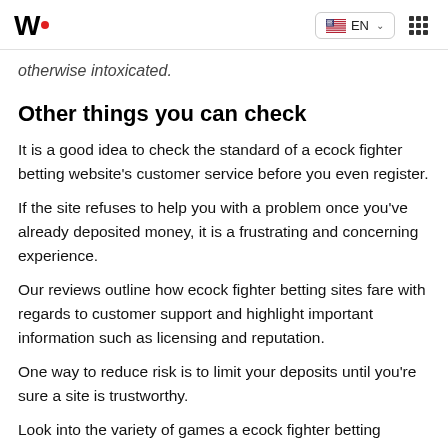W• EN :::
otherwise intoxicated.
Other things you can check
It is a good idea to check the standard of a ecock fighter betting website's customer service before you even register.
If the site refuses to help you with a problem once you've already deposited money, it is a frustrating and concerning experience.
Our reviews outline how ecock fighter betting sites fare with regards to customer support and highlight important information such as licensing and reputation.
One way to reduce risk is to limit your deposits until you're sure a site is trustworthy.
Look into the variety of games a ecock fighter betting platform offers to see if you're likely to remain